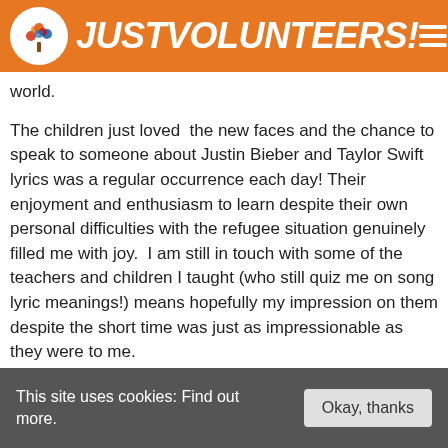JUST VOLUNTEERS!
world.
The children just loved  the new faces and the chance to speak to someone about Justin Bieber and Taylor Swift lyrics was a regular occurrence each day! Their enjoyment and enthusiasm to learn despite their own personal difficulties with the refugee situation genuinely filled me with joy.  I am still in touch with some of the teachers and children I taught (who still quiz me on song lyric meanings!) means hopefully my impression on them despite the short time was just as impressionable as they were to me.
Seeing that some kids have been relocated to their new country by UNHCR  warms my heart that they have made it
This site uses cookies: Find out more.